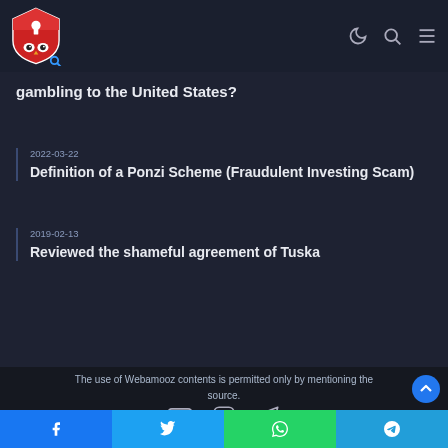Webamooz — header with logo and navigation icons
gambling to the United States?
2022-03-22
Definition of a Ponzi Scheme (Fraudulent Investing Scam)
2019-02-13
Reviewed the shameful agreement of Tuska
The use of Webamooz contents is permitted only by mentioning the source.
Social icons: YouTube, Instagram, Telegram
Share buttons: Facebook, Twitter, WhatsApp, Telegram